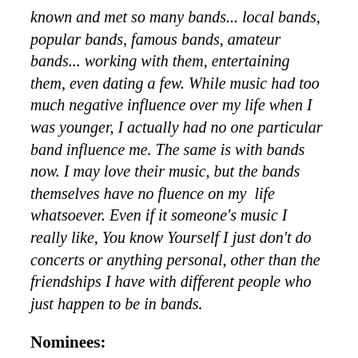known and met so many bands... local bands, popular bands, famous bands, amateur bands... working with them, entertaining them, even dating a few. While music had too much negative influence over my life when I was younger, I actually had no one particular band influence me. The same is with bands now. I may love their music, but the bands themselves have no fluence on my life whatsoever. Even if it someone's music I really like, You know Yourself I just don't do concerts or anything personal, other than the friendships I have with different people who just happen to be in bands.
Nominees: